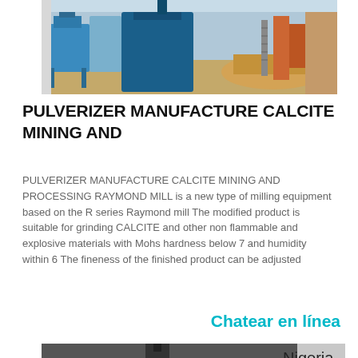[Figure (photo): Industrial pulverizer / Raymond mill equipment outdoors with blue machinery and raw materials on ground]
PULVERIZER MANUFACTURE CALCITE MINING AND
PULVERIZER MANUFACTURE CALCITE MINING AND PROCESSING RAYMOND MILL is a new type of milling equipment based on the R series Raymond mill The modified product is suitable for grinding CALCITE and other non flammable and explosive materials with Mohs hardness below 7 and humidity within 6 The fineness of the finished product can be adjusted
Chatear en línea
[Figure (photo): Industrial mill equipment inside a facility, showing a large conical dust collector or cyclone separator]
Nigeria Molino Imp